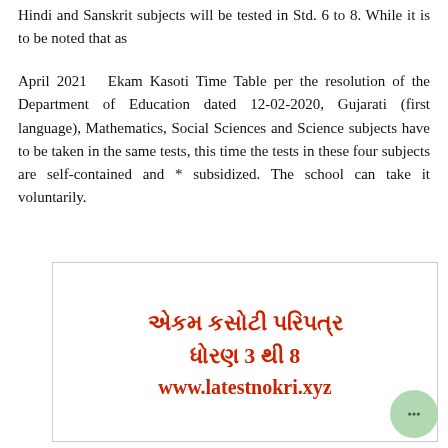Hindi and Sanskrit subjects will be tested in Std. 6 to 8. While it is to be noted that as
April 2021 Ekam Kasoti Time Table per the resolution of the Department of Education dated 12-02-2020, Gujarati (first language), Mathematics, Social Sciences and Science subjects have to be taken in the same tests, this time the tests in these four subjects are self-contained and * subsidized. The school can take it voluntarily.
[Figure (illustration): Box with Gujarati text reading 'એકમ કસોટી પરિપત્ર ધોરણ 3 થી 8' and website 'www.latestnokri.xyz' in red bold text on white background]